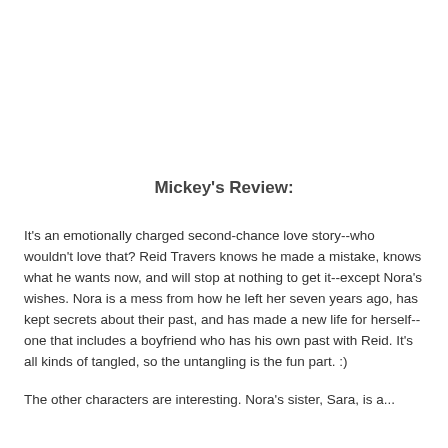Mickey's Review:
It's an emotionally charged second-chance love story--who wouldn't love that? Reid Travers knows he made a mistake, knows what he wants now, and will stop at nothing to get it--except Nora's wishes. Nora is a mess from how he left her seven years ago, has kept secrets about their past, and has made a new life for herself--one that includes a boyfriend who has his own past with Reid. It's all kinds of tangled, so the untangling is the fun part. :)
The other characters are interesting. Nora's sister, Sara, is a...